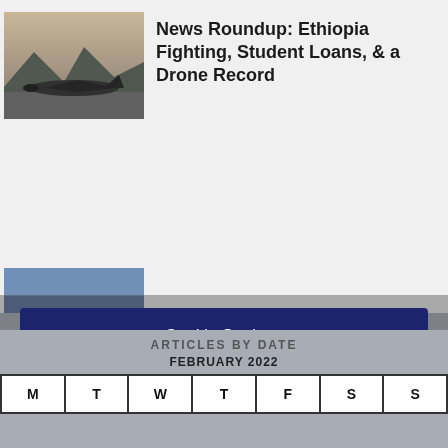[Figure (photo): Airplane on tarmac with mountains in background at dusk]
News Roundup: Ethiopia Fighting, Student Loans, & a Drone Record
Cookie Settings
This website uses cookies to improve your experience. You can accept them, reject them, or choose which cookies to accept.
Reject | Cookie settings | ACCEPT
ARTICLES BY DATE
FEBRUARY 2022
| M | T | W | T | F | S | S |
| --- | --- | --- | --- | --- | --- | --- |